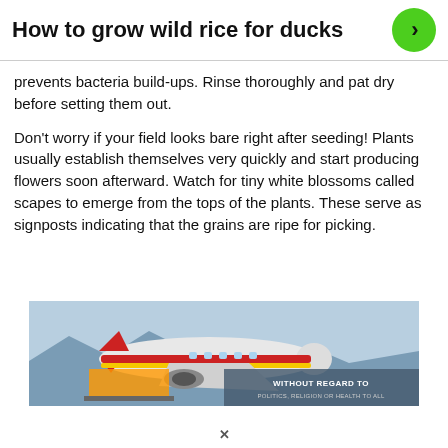How to grow wild rice for ducks
prevents bacteria build-ups. Rinse thoroughly and pat dry before setting them out.
Don't worry if your field looks bare right after seeding! Plants usually establish themselves very quickly and start producing flowers soon afterward. Watch for tiny white blossoms called scapes to emerge from the tops of the plants. These serve as signposts indicating that the grains are ripe for picking.
[Figure (photo): Advertisement banner showing an airplane being loaded with cargo, with text overlay 'WITHOUT REGARD TO POLITICS, RELIGION OR HEALTH TO ALL']